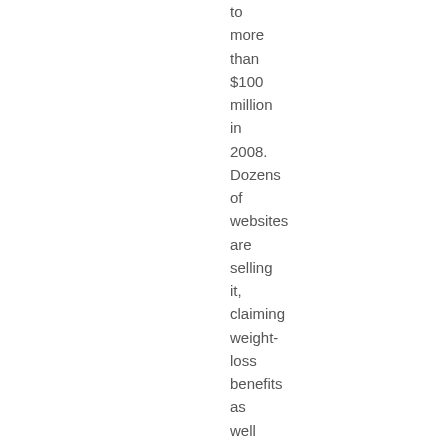to more than $100 million in 2008. Dozens of websites are selling it, claiming weight-loss benefits as well as its ability to